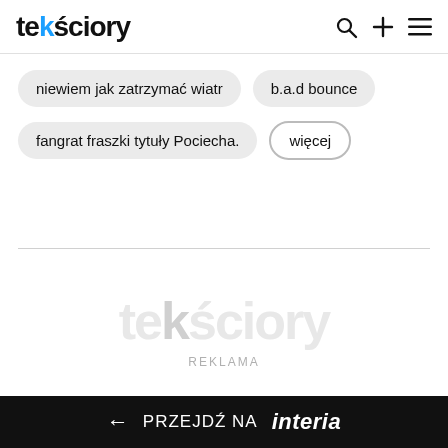tekściory
niewiem jak zatrzymać wiatr
b.a.d bounce
fangrat fraszki tytuły Pociecha.
więcej
[Figure (logo): Tekściory watermark logo in light grey]
REKLAMA
← PRZEJDŹ NA interia